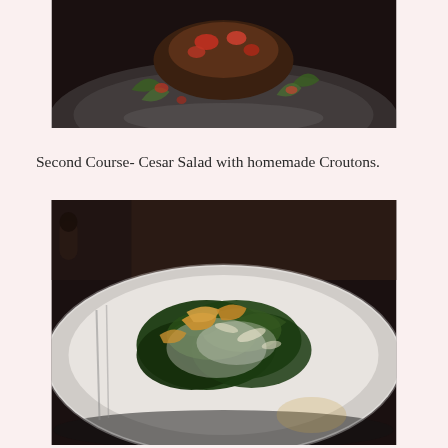[Figure (photo): Top portion of a food dish on a white plate — appears to be a bruschetta or topped appetizer with tomatoes and greens on a dark background]
Second Course- Cesar Salad with homemade Croutons.
[Figure (photo): Caesar salad with homemade croutons on a white plate, showing romaine lettuce coated in dressing with toasted bread croutons, photographed in dim restaurant lighting]